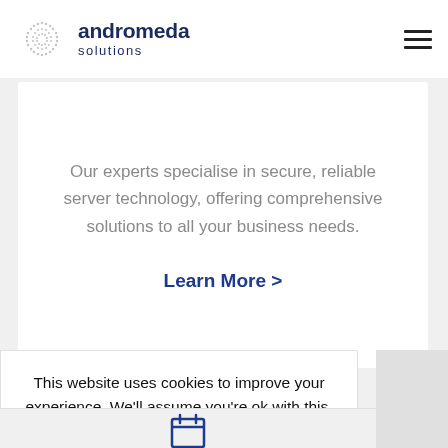[Figure (logo): Andromeda Solutions logo: dotted spiral circle with company name 'andromeda solutions' in dark navy text]
Our experts specialise in secure, reliable server technology, offering comprehensive solutions to all your business needs.
Learn More >
This website uses cookies to improve your experience. We'll assume you're ok with this, but you can opt-out if you wish.
Cookie settings
ACCEPT